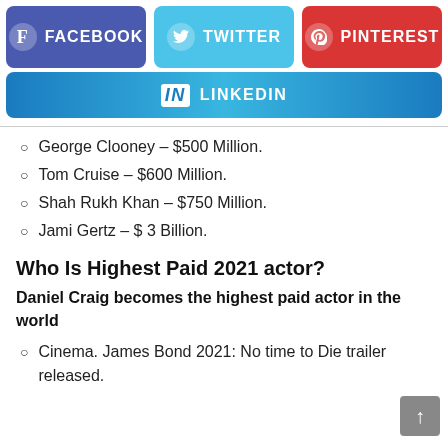[Figure (infographic): Social media share buttons: Facebook (purple), Twitter (blue), Pinterest (red), LinkedIn (blue gradient)]
George Clooney – $500 Million.
Tom Cruise – $600 Million.
Shah Rukh Khan – $750 Million.
Jami Gertz – $ 3 Billion.
Who Is Highest Paid 2021 actor?
Daniel Craig becomes the highest paid actor in the world
Cinema. James Bond 2021: No time to Die trailer released.